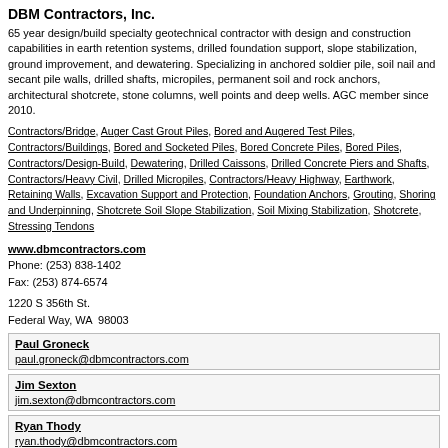DBM Contractors, Inc.
65 year design/build specialty geotechnical contractor with design and construction capabilities in earth retention systems, drilled foundation support, slope stabilization, ground improvement, and dewatering. Specializing in anchored soldier pile, soil nail and secant pile walls, drilled shafts, micropiles, permanent soil and rock anchors, architectural shotcrete, stone columns, well points and deep wells. AGC member since 2010.
Contractors/Bridge, Auger Cast Grout Piles, Bored and Augered Test Piles, Contractors/Buildings, Bored and Socketed Piles, Bored Concrete Piles, Bored Piles, Contractors/Design-Build, Dewatering, Drilled Caissons, Drilled Concrete Piers and Shafts, Contractors/Heavy Civil, Drilled Micropiles, Contractors/Heavy Highway, Earthwork, Retaining Walls, Excavation Support and Protection, Foundation Anchors, Grouting, Shoring and Underpinning, Shotcrete Soil Slope Stabilization, Soil Mixing Stabilization, Shotcrete, Stressing Tendons
www.dbmcontractors.com
Phone: (253) 838-1402
Fax: (253) 874-6574
1220 S 356th St.
Federal Way, WA  98003
Paul Groneck
paul.groneck@dbmcontractors.com
Jim Sexton
jim.sexton@dbmcontractors.com
Ryan Thody
ryan.thody@dbmcontractors.com